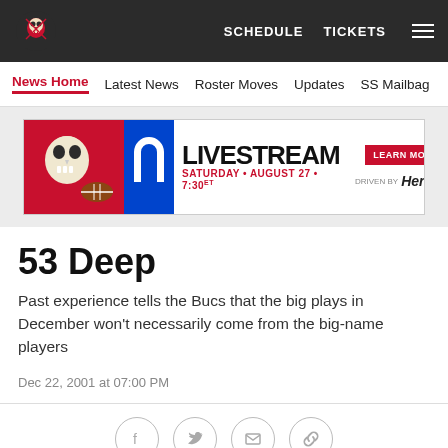[Figure (screenshot): Tampa Bay Buccaneers website top navigation bar with dark background, Buccaneers skull logo on left, SCHEDULE and TICKETS links and hamburger menu on right]
News Home   Latest News   Roster Moves   Updates   SS Mailbag
[Figure (photo): Livestream advertisement banner: Tampa Bay Buccaneers vs Indianapolis Colts, LIVESTREAM Saturday August 27 7:30 ET, LEARN MORE button, Driven by Hertz]
53 Deep
Past experience tells the Bucs that the big plays in December won't necessarily come from the big-name players
Dec 22, 2001 at 07:00 PM
[Figure (infographic): Social sharing icons row: Facebook, Twitter, Email, Link]